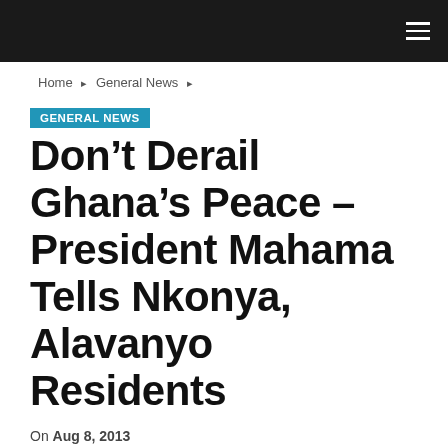Navigation bar with hamburger menu
Home › General News ›
GENERAL NEWS
Don't Derail Ghana's Peace – President Mahama Tells Nkonya, Alavanyo Residents
On Aug 8, 2013
Share | WhatsApp | Facebook | Twitter